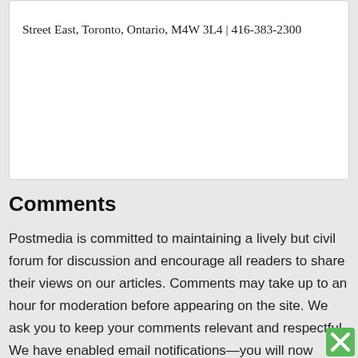Street East, Toronto, Ontario, M4W 3L4 | 416-383-2300
Comments
Postmedia is committed to maintaining a lively but civil forum for discussion and encourage all readers to share their views on our articles. Comments may take up to an hour for moderation before appearing on the site. We ask you to keep your comments relevant and respectful. We have enabled email notifications—you will now receive an email if you receive a reply to your comment, there is an update to a comment thread you follow or if a user you follow comments. Visit our Community